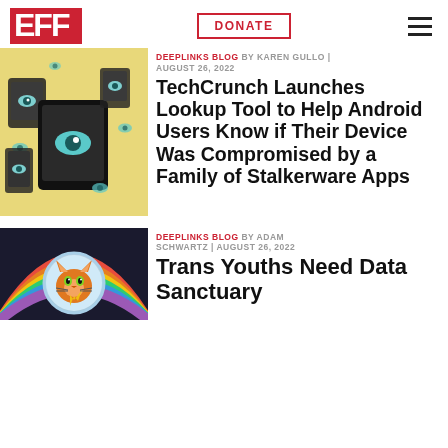EFF | DONATE | Menu
DEEPLINKS BLOG BY KAREN GULLO | AUGUST 26, 2022
[Figure (illustration): Illustration of various devices with surveillance eyes on a yellow background]
TechCrunch Launches Lookup Tool to Help Android Users Know if Their Device Was Compromised by a Family of Stalkerware Apps
DEEPLINKS BLOG BY ADAM SCHWARTZ | AUGUST 26, 2022
[Figure (illustration): Illustration of an orange cat in a space helmet with rainbow background]
Trans Youths Need Data Sanctuary